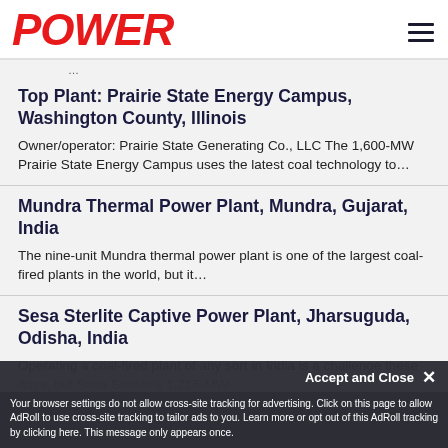POWER
[truncated top text]
Top Plant: Prairie State Energy Campus, Washington County, Illinois
Owner/operator: Prairie State Generating Co., LLC The 1,600-MW Prairie State Energy Campus uses the latest coal technology to…
Mundra Thermal Power Plant, Mundra, Gujarat, India
The nine-unit Mundra thermal power plant is one of the largest coal-fired plants in the world, but it…
Sesa Sterlite Captive Power Plant, Jharsuguda, Odisha, India
Operating a coal-fired plant of any sort in India is a challenge these days, but Sesa Sterlite's 1,215-MW…
Accept and Close ×
Your browser settings do not allow cross-site tracking for advertising. Click on this page to allow AdRoll to use cross-site tracking to tailor ads to you. Learn more or opt out of this AdRoll tracking by clicking here. This message only appears once.